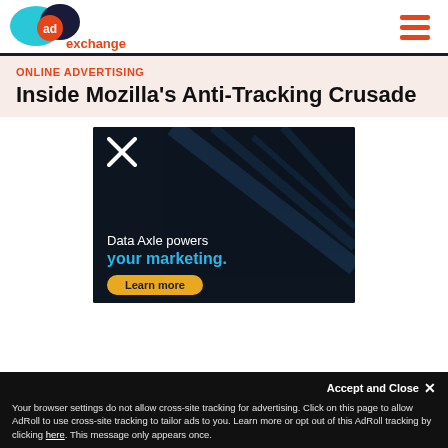AdExchanger logo and navigation
ONLINE ADVERTISING
Inside Mozilla's Anti-Tracking Crusade
[Figure (photo): Data Axle advertisement: dark background with light streaks, X logo icon, text 'Data Axle powers your marketing.' and yellow 'Learn more' button]
Accept and Close ✕
Your browser settings do not allow cross-site tracking for advertising. Click on this page to allow AdRoll to use cross-site tracking to tailor ads to you. Learn more or opt out of this AdRoll tracking by clicking here. This message only appears once.